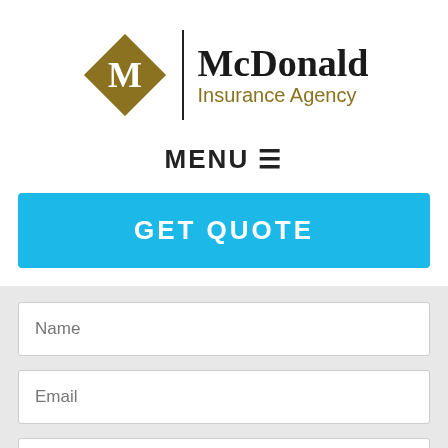[Figure (logo): McDonald Insurance Agency logo with gold diamond shape containing letter M, vertical divider line, and company name text]
MENU ☰
GET QUOTE
Name
Email
Phone (Optional)